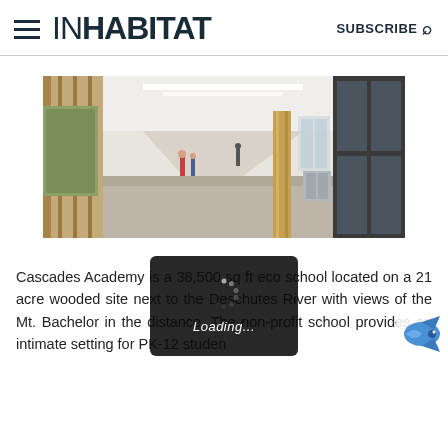INHABITAT  SUBSCRIBE
[Figure (photo): Interior corridor of Cascades Academy school building showing a wide hallway with wood-clad columns, glass-fronted classrooms, students walking, and natural light from skylights.]
Cascades Academy is a 38,500 sq ft eco school located on a 21 acre wooded site next to the Deschutes River with views of the Mt. Bachelor in the distance. The non-profit school provides an intimate setting for PK-12 studen